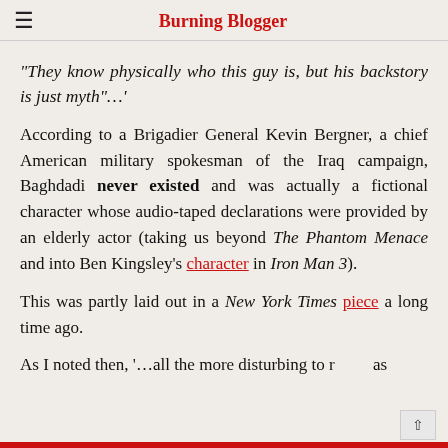Burning Blogger
“They know physically who this guy is, but his backstory is just myth”…’
According to a Brigadier General Kevin Bergner, a chief American military spokesman of the Iraq campaign, Baghdadi never existed and was actually a fictional character whose audio-taped declarations were provided by an elderly actor (taking us beyond The Phantom Menace and into Ben Kingsley’s character in Iron Man 3).
This was partly laid out in a New York Times piece a long time ago.
As I noted then, ‘…all the more disturbing to r… as